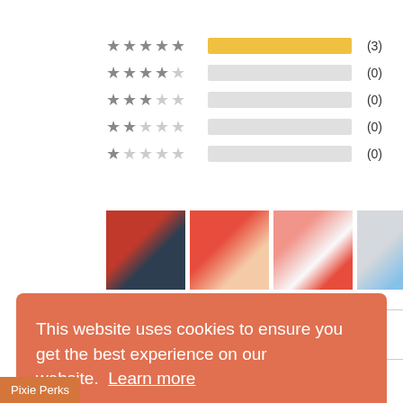[Figure (other): Star rating distribution bars: 5-star (3 reviews, full yellow bar), 4-star (0, empty bar), 3-star (0, empty bar), 2-star (0, empty bar), 1-star (0, empty bar)]
[Figure (photo): Four product review photos showing dolls wearing outfits: red top with dark shorts, red ruffled dress, two dolls in matching red and white outfits, blue floral romper]
Write a Review
This website uses cookies to ensure you get the best experience on our website. Learn more
Got it!